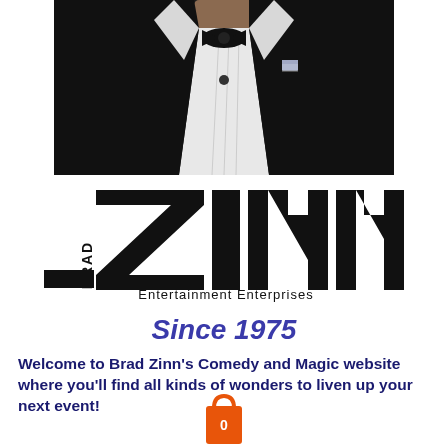[Figure (photo): Cropped photo of a man in a formal black tuxedo with bow tie and small pin on lapel, shot from neck down]
[Figure (logo): Brad Zinn Entertainment Enterprises logo with large stylized ZINN text in black and BRAD written vertically on the left, with Entertainment Enterprises subtitle]
Since 1975
Welcome to Brad Zinn's Comedy and Magic website where you'll find all kinds of wonders to liven up your next event!
[Figure (illustration): Orange shopping bag icon with number 0]